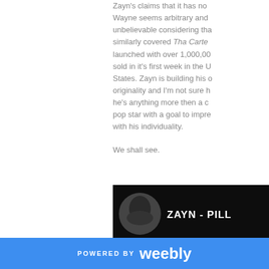Zayn's claims that it has no Wayne seems arbitrary and unbelievable considering tha similarly covered Tha Carte launched with over 1,000,00 sold in it's first week in the U States. Zayn is building his originality and I'm not sure h he's anything more then a c pop star with a goal to impre with his individuality.
We shall see.
[Figure (photo): Dark album-style image with a circular portrait of Zayn (male face) on the left, the text 'ZAYN - PILL' visible in white bold letters, and a blonde-haired figure (viewed from behind) in the lower portion of the image.]
POWERED BY weebly